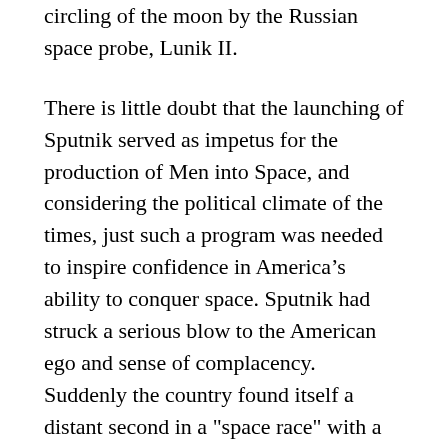circling of the moon by the Russian space probe, Lunik II.
There is little doubt that the launching of Sputnik served as impetus for the production of Men into Space, and considering the political climate of the times, just such a program was needed to inspire confidence in America’s ability to conquer space. Sputnik had struck a serious blow to the American ego and sense of complacency. Suddenly the country found itself a distant second in a "space race" with a country whose leadership had pledged to "bury" us and had chillingly promised that America’s children would live under communism.
Destination Moon was produced by George Pál, who later brought us When